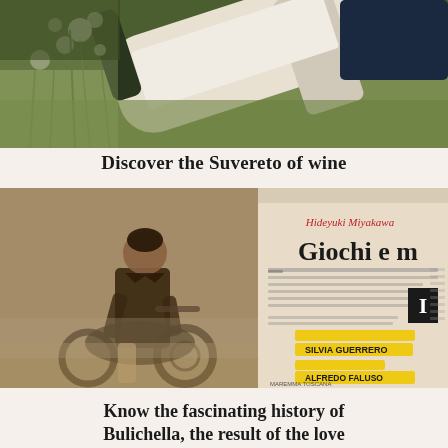[Figure (photo): A wine bottle lying among flowers and green grass, photographed from above in color.]
Discover the Suvereto of wine
[Figure (photo): An open magazine spread showing a vintage sepia photograph of a young man on a motorcycle, alongside article text in Italian with the headline 'Giochi e m' (truncated), author credits highlighted in yellow: 'SILVIA GUERRERO' and 'ALFREDO FALUSO', and the writer's name 'Hideyuki Miyakawa'.]
Know the fascinating history of Bulichella, the result of the love